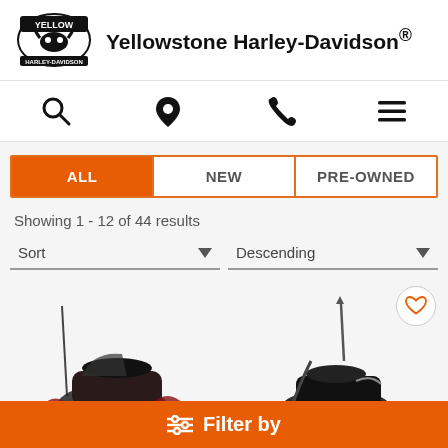[Figure (logo): Yellowstone Harley-Davidson logo with bull skull]
Yellowstone Harley-Davidson®
[Figure (infographic): Navigation icons: search, location pin, phone, hamburger menu]
ALL | NEW | PRE-OWNED (tab selector, ALL active)
Showing 1 - 12 of 44 results
Sort  ▾     Descending  ▾
[Figure (photo): Two Harley-Davidson motorcycles partially visible at the bottom of the page]
≡ Filter by